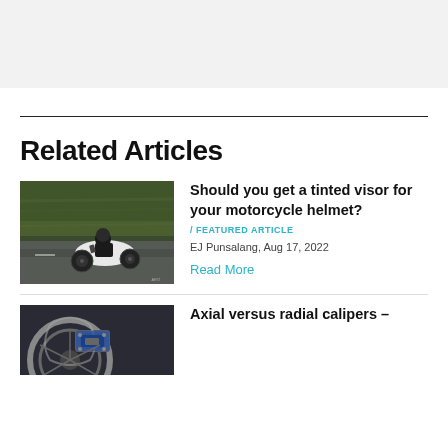[Figure (other): Gray banner/header area at top of page]
Related Articles
[Figure (photo): Motorcycle rider on a sport bike riding on a road, motion blur in background]
Should you get a tinted visor for your motorcycle helmet?
/ FEATURED ARTICLE
EJ Punsalang, Aug 17, 2022
Read More
[Figure (photo): Close-up of motorcycle brake caliper/wheel area]
Axial versus radial calipers –